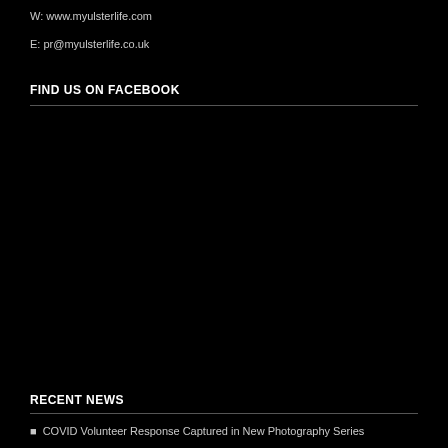W: www.myulsterlife.com
E: pr@myulsterlife.co.uk
FIND US ON FACEBOOK
[Figure (other): Facebook widget embed area, appears as black/empty block]
RECENT NEWS
COVID Volunteer Response Captured in New Photography Series